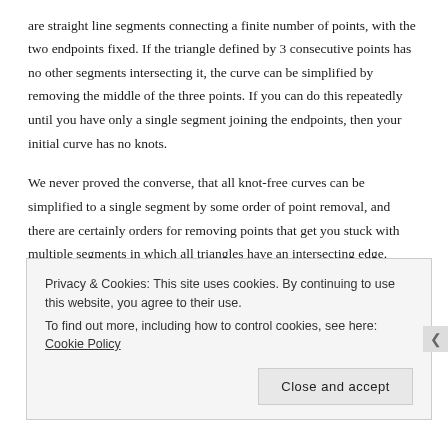are straight line segments connecting a finite number of points, with the two endpoints fixed. If the triangle defined by 3 consecutive points has no other segments intersecting it, the curve can be simplified by removing the middle of the three points. If you can do this repeatedly until you have only a single segment joining the endpoints, then your initial curve has no knots.
We never proved the converse, that all knot-free curves can be simplified to a single segment by some order of point removal, and there are certainly orders for removing points that get you stuck with multiple segments in which all triangles have an intersecting edge. Luckily, using a couple of
Privacy & Cookies: This site uses cookies. By continuing to use this website, you agree to their use.
To find out more, including how to control cookies, see here: Cookie Policy